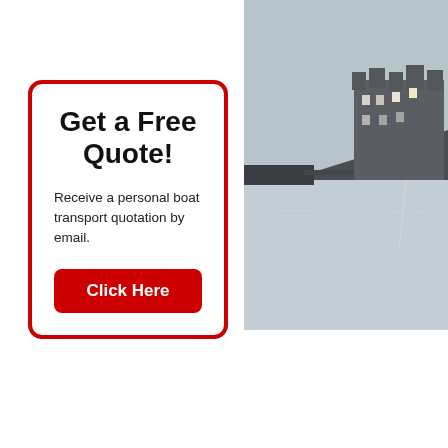Get a Free Quote!
Receive a personal boat transport quotation by email.
Click Here
[Figure (photo): A coastal scene showing a castle or large building on a rocky promontory reflected in calm grey water, photographed at dusk or dawn in muted grey tones.]
Burntisland GB, November 4 been towed ten miles by RIB fr appeared on the Scottish-base The next stage of the rescue pl road delivery to Steve's Lancas